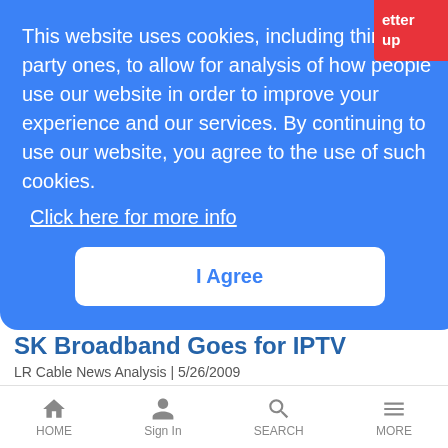This website uses cookies, including third party ones, to allow for analysis of how people use our website in order to improve your experience and our services. By continuing to use our website, you agree to the use of such cookies.
Click here for more info
I Agree
SK Broadband Goes for IPTV
LR Cable News Analysis | 5/26/2009
Korean MSO implements Harmonic's CMTS bypass approach to help unify how video is delivered via its cable, DSL, and fiber-fed networks
NTT Splashes on Subsea Assets
HOME | Sign In | SEARCH | MORE